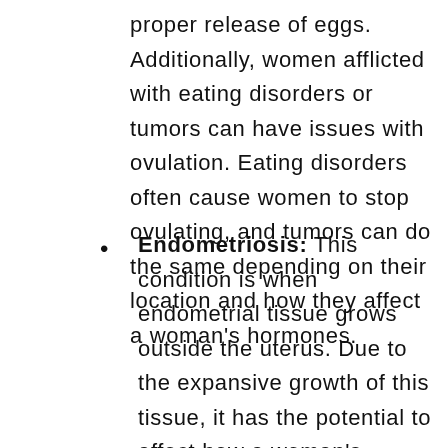proper release of eggs. Additionally, women afflicted with eating disorders or tumors can have issues with ovulation. Eating disorders often cause women to stop ovulating, and tumors can do the same depending on their location and how they affect a woman's hormones.
Endometriosis: This condition is when endometrial tissue grows outside the uterus. Due to the expansive growth of this tissue, it has the potential to affect how a woman's ovaries, uterus, and/or fallopian tubes function.